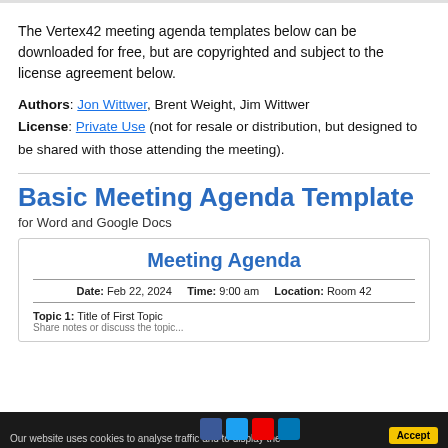The Vertex42 meeting agenda templates below can be downloaded for free, but are copyrighted and subject to the license agreement below.
Authors: Jon Wittwer, Brent Weight, Jim Wittwer
License: Private Use (not for resale or distribution, but designed to be shared with those attending the meeting).
Basic Meeting Agenda Template
for Word and Google Docs
[Figure (screenshot): Preview of a Meeting Agenda template showing title 'Meeting Agenda', Date: Feb 22, 2024, Time: 9:00 am, Location: Room 42, and Topic 1: Title of First Topic]
Our website uses cookies to analyse traffic and to display the